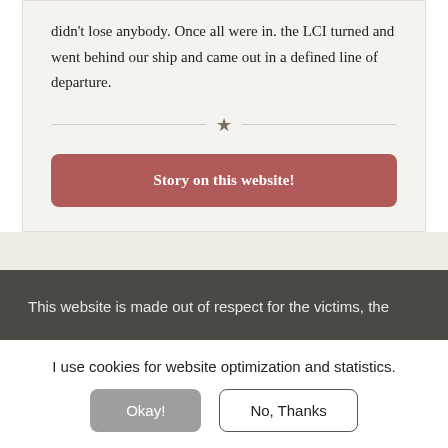didn't lose anybody. Once all were in. the LCI turned and went behind our ship and came out in a defined line of departure.
Story on this website!
This website is made out of respect for the victims, the
I use cookies for website optimization and statistics.
Okay!
No, Thanks